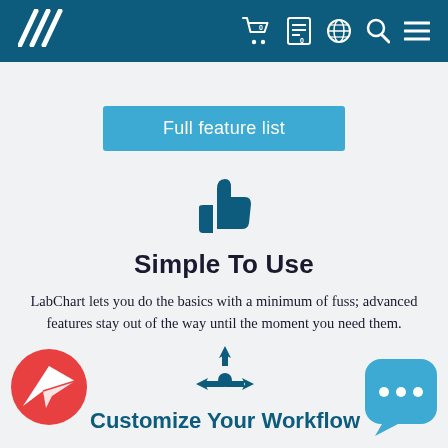ADInstruments website header with logo and navigation icons
Full feature list
[Figure (illustration): Dark blue thumbs up icon]
Simple To Use
LabChart lets you do the basics with a minimum of fuss; advanced features stay out of the way until the moment you need them.
[Figure (illustration): Red circular chat/send icon (paper plane) on bottom left]
[Figure (illustration): Dark blue four-directional arrow/workflow icon in center bottom]
[Figure (illustration): Light blue rounded square chat bubble icon on bottom right]
Customize Your Workflow